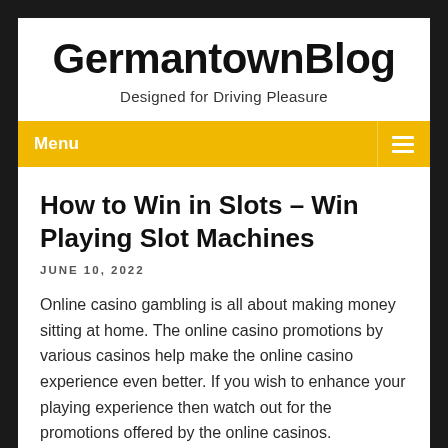GermantownBlog
Designed for Driving Pleasure
Menu
How to Win in Slots – Win Playing Slot Machines
JUNE 10, 2022
Online casino gambling is all about making money sitting at home. The online casino promotions by various casinos help make the online casino experience even better. If you wish to enhance your playing experience then watch out for the promotions offered by the online casinos.